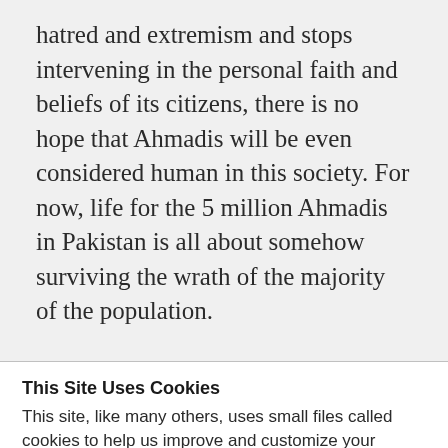hatred and extremism and stops intervening in the personal faith and beliefs of its citizens, there is no hope that Ahmadis will be even considered human in this society. For now, life for the 5 million Ahmadis in Pakistan is all about somehow surviving the wrath of the majority of the population.
This Site Uses Cookies
This site, like many others, uses small files called cookies to help us improve and customize your experience. Learn more about how we use cookies in our cookie policy.
Learn more about cookies   OK